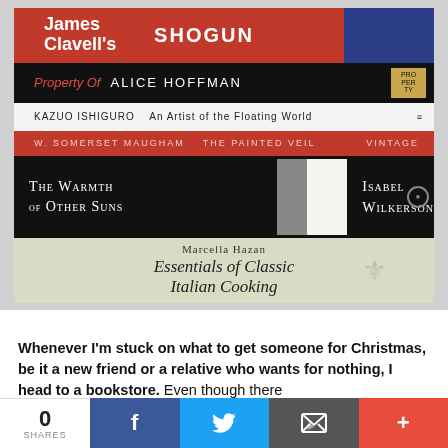[Figure (photo): Stack of books lying flat, spines visible from top to bottom: James Clavell's Shogun (red/blue), Property Of by Alice Hoffman (black), Kazuo Ishiguro An Artist of the Floating World (white), W. Somerset Maugham The Painted Veil Vintage (red), The Warmth of Other Suns by Isabel Wilkerson (black), Marcella Hazan Essentials of Classic Italian Cooking (light green)]
Whenever I'm stuck on what to get someone for Christmas, be it a new friend or a relative who wants for nothing, I head to a bookstore. Even though there
0 SHARES  [Facebook] [Twitter] [Email] [+]